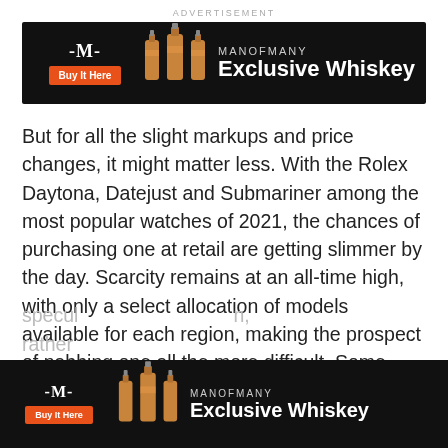ADVERTISEMENT
[Figure (other): ManOfMany Exclusive Whiskey advertisement banner with logo, Buy It Here button, whiskey bottles, and text]
But for all the slight markups and price changes, it might matter less. With the Rolex Daytona, Datejust and Submariner among the most popular watches of 2021, the chances of purchasing one at retail are getting slimmer by the day. Scarcity remains at an all-time high, with only a select allocation of models available for each region, making the prospect of nabbing one all the more difficult. Some have speculated n, rather
[Figure (other): ManOfMany Exclusive Whiskey advertisement banner (bottom, partially overlapping text)]